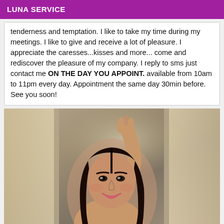LUNA SERVICE
tenderness and temptation. I like to take my time during my meetings. I like to give and receive a lot of pleasure. I appreciate the caresses...kisses and more... come and rediscover the pleasure of my company. I reply to sms just contact me ON THE DAY YOU APPOINT. available from 10am to 11pm every day. Appointment the same day 30min before. See you soon!
[Figure (photo): Portrait photo of a young woman with long dark hair, smiling, arm raised, standing in front of light curtains]